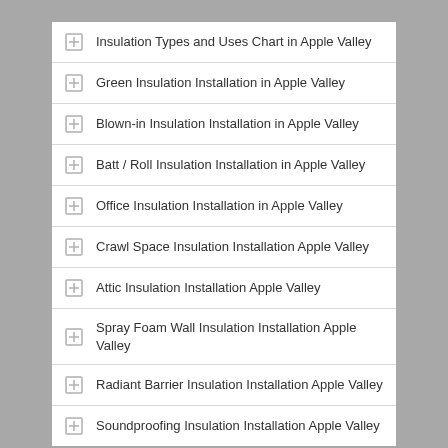Insulation Types and Uses Chart in Apple Valley
Green Insulation Installation in Apple Valley
Blown-in Insulation Installation in Apple Valley
Batt / Roll Insulation Installation in Apple Valley
Office Insulation Installation in Apple Valley
Crawl Space Insulation Installation Apple Valley
Attic Insulation Installation Apple Valley
Spray Foam Wall Insulation Installation Apple Valley
Radiant Barrier Insulation Installation Apple Valley
Soundproofing Insulation Installation Apple Valley